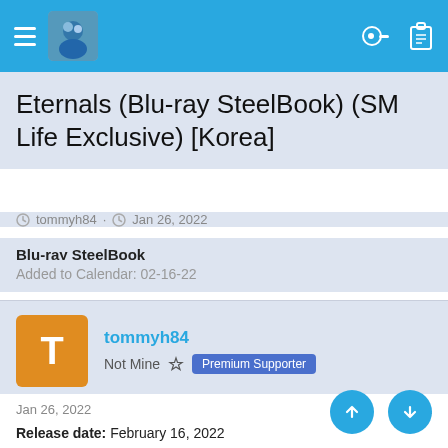Nav bar with hamburger menu, avatar, key icon, clipboard icon
Eternals (Blu-ray SteelBook) (SM Life Exclusive) [Korea]
tommyh84 · Jan 26, 2022
Blu-ray SteelBook
Added to Calendar: 02-16-22
tommyh84
Not Mine  Premium Supporter
Jan 26, 2022
Release date: February 16, 2022
Purchase links: Kimchi - Nova - WeET (Pre-order on February at 2 PM - Korea time)